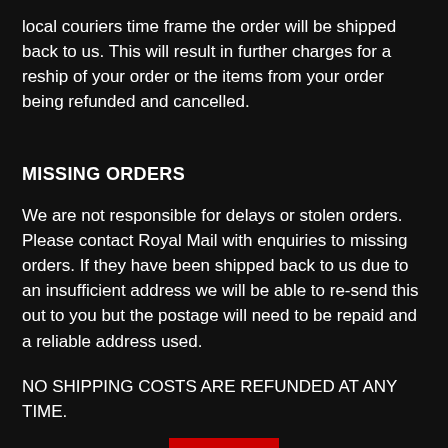local couriers time frame the order will be shipped back to us. This will result in further charges for a reship of your order or the items from your order being refunded and cancelled.
MISSING ORDERS
We are not responsible for delays or stolen orders. Please contact Royal Mail with enquiries to missing orders. If they have been shipped back to us due to an insufficient address we will be able to re-send this out to you but the postage will need to be repaid and a reliable address used.
NO SHIPPING COSTS ARE REFUNDED AT ANY TIME.